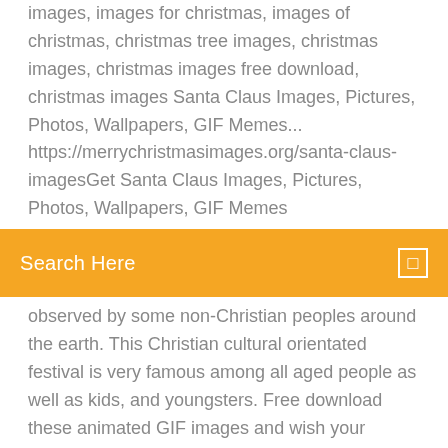images, images for christmas, images of christmas, christmas tree images, christmas images, christmas images free download, christmas images Santa Claus Images, Pictures, Photos, Wallpapers, GIF Memes... https://merrychristmasimages.org/santa-claus-imagesGet Santa Claus Images, Pictures, Photos, Wallpapers, GIF Memes
Search Here
observed by some non-Christian peoples around the earth. This Christian cultural orientated festival is very famous among all aged people as well as kids, and youngsters. Free download these animated GIF images and wish your friends and others a Merry Christmas 2017 this Merry Christmas Images 2019 - Merry Christmas Images Free... merrychristmasimagese.com/merry-christmas-images.htmlMerry Christmas Images 2019: Christmas is one of the biggest festivals of the year for the entire Christian community. They celebrate this day with lots Optionally, you can